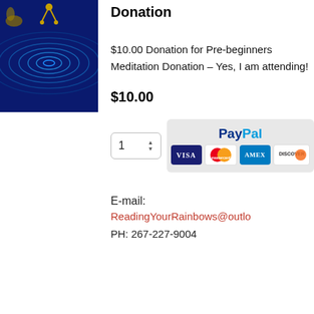[Figure (illustration): Blue ripple/wave circle pattern with decorative elements on dark blue background]
Donation
$10.00 Donation for Pre-beginners Meditation Donation – Yes, I am attending!
$10.00
[Figure (screenshot): PayPal checkout button with quantity selector showing 1, and payment icons for Visa, Mastercard, AMEX, Discover]
E-mail:
ReadingYourRainbows@outlo
PH: 267-227-9004